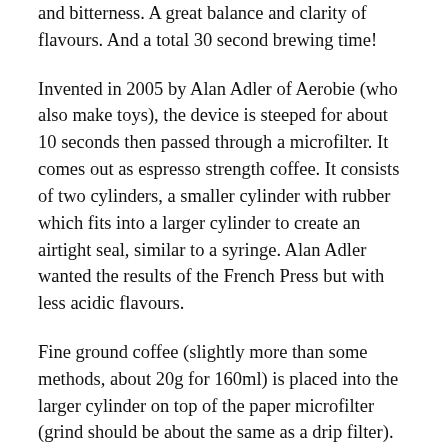and bitterness. A great balance and clarity of flavours. And a total 30 second brewing time!
Invented in 2005 by Alan Adler of Aerobie (who also make toys), the device is steeped for about 10 seconds then passed through a microfilter. It comes out as espresso strength coffee. It consists of two cylinders, a smaller cylinder with rubber which fits into a larger cylinder to create an airtight seal, similar to a syringe. Alan Adler wanted the results of the French Press but with less acidic flavours.
Fine ground coffee (slightly more than some methods, about 20g for 160ml) is placed into the larger cylinder on top of the paper microfilter (grind should be about the same as a drip filter). Hot water (not long off the boil) is then poured over the coffee. The mixture is stirred and allowed to steep for only 10 seconds (much quicker than other filter techniques). For a stronger brew the steep time can be up to 1 ½ minutes. Then it is forced through the microfilter using